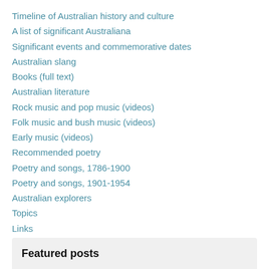Timeline of Australian history and culture
A list of significant Australiana
Significant events and commemorative dates
Australian slang
Books (full text)
Australian literature
Rock music and pop music (videos)
Folk music and bush music (videos)
Early music (videos)
Recommended poetry
Poetry and songs, 1786-1900
Poetry and songs, 1901-1954
Australian explorers
Topics
Links
Featured posts